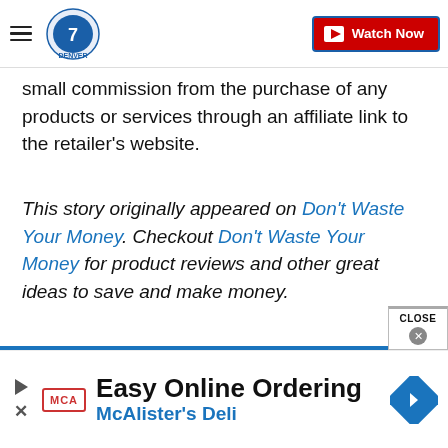Denver7 navigation bar with hamburger menu, logo, and Watch Now button
small commission from the purchase of any products or services through an affiliate link to the retailer's website.
This story originally appeared on Don't Waste Your Money. Checkout Don't Waste Your Money for product reviews and other great ideas to save and make money.
Copyright 2022 Scripps Media, Inc. All rights reserved. This material may not be published, broadcast, rewritten, or redistributed.
[Figure (other): Advertisement banner: Easy Online Ordering - McAlister's Deli with MCA logo and navigation arrow diamond icon]